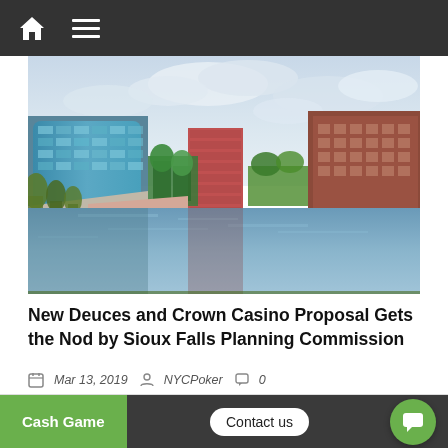Navigation bar with home and menu icons
[Figure (photo): Aerial/street-level view of a city waterway canal with modern glass office buildings on the left, brick buildings on the right, green trees, pedestrian walkway, and cloudy sky reflected in the water — Sioux Falls urban scene]
New Deuces and Crown Casino Proposal Gets the Nod by Sioux Falls Planning Commission
Mar 13, 2019  NYCPoker  0
Cash Game  Contact us